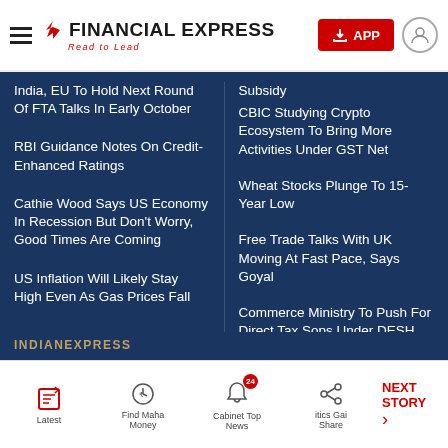Financial Express – Read to Lead
India, EU To Hold Next Round Of FTA Talks In Early October
RBI Guidance Notes On Credit-Enhanced Ratings
Cathie Wood Says US Economy In Recession But Don't Worry, Good Times Are Coming
US Inflation Will Likely Stay High Even As Gas Prices Fall
Subsidy
CBIC Studying Crypto Ecosystem To Bring More Activities Under GST Net
Wheat Stocks Plunge To 15-Year Low
Free Trade Talks With UK Moving At Fast Pace, Says Goyal
Commerce Ministry To Push For Direct Tax Sops Under DESH Bill
INDIANEXPRESS
Latest | Find Maha Money | Cabinet Top News | itics Gai | Share momentum | NEXT STORY